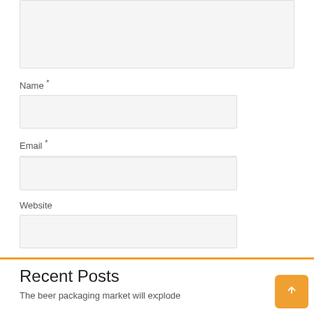[Figure (screenshot): A comment form section showing a textarea (partially visible at top), followed by Name, Email, and Website input fields, a save-info checkbox, a Post Comment button, an orange horizontal rule, and a Recent Posts section header with a partial link text.]
Name *
Email *
Website
Save my name, email, and website in this browser for the next time I comment.
Post Comment
Recent Posts
The beer packaging market will explode